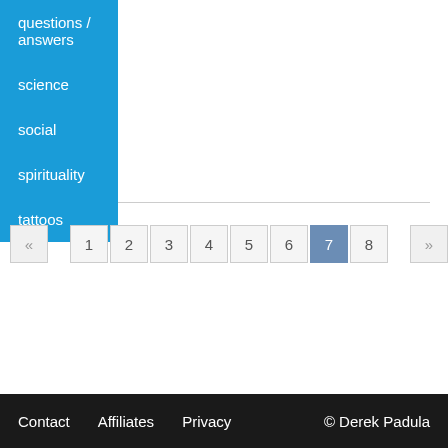questions / answers
science
social
spirituality
tattoos
« 1 2 3 4 5 6 7 8 »
Contact   Affiliates   Privacy   © Derek Padula